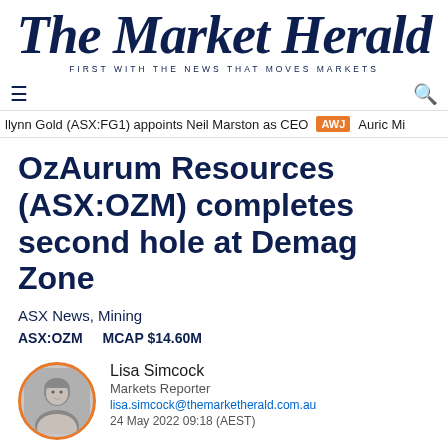The Market Herald
FIRST WITH THE NEWS THAT MOVES MARKETS
≡    Q
llynn Gold (ASX:FG1) appoints Neil Marston as CEO  AWJ  Auric Mi
OzAurum Resources (ASX:OZM) completes second hole at Demag Zone
ASX News, Mining
ASX:OZM    MCAP $14.60M
Lisa Simcock
Markets Reporter
lisa.simcock@themarketherald.com.au
24 May 2022 09:18 (AEST)